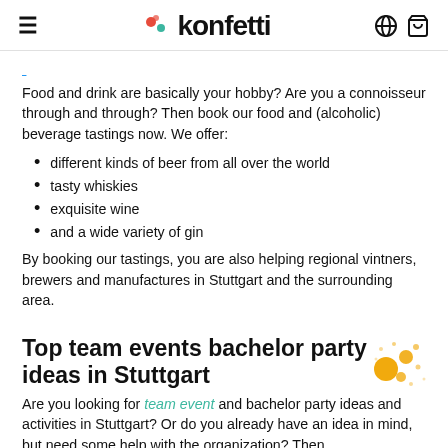konfetti
Food and drink are basically your hobby? Are you a connoisseur through and through? Then book our food and (alcoholic) beverage tastings now. We offer:
different kinds of beer from all over the world
tasty whiskies
exquisite wine
and a wide variety of gin
By booking our tastings, you are also helping regional vintners, brewers and manufactures in Stuttgart and the surrounding area.
Top team events bachelor party ideas in Stuttgart
Are you looking for team event and bachelor party ideas and activities in Stuttgart? Or do you already have an idea in mind, but need some help with the organization? Then